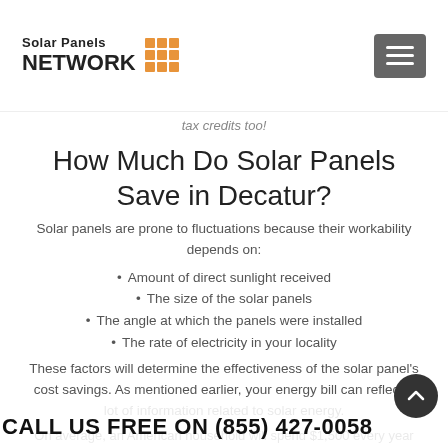Solar Panels NETWORK
tax credits too!
How Much Do Solar Panels Save in Decatur?
Solar panels are prone to fluctuations because their workability depends on:
Amount of direct sunlight received
The size of the solar panels
The angle at which the panels were installed
The rate of electricity in your locality
These factors will determine the effectiveness of the solar panel's cost savings. As mentioned earlier, your energy bill can reflect a lot of information related to solar energy.
On average, an American household will spend $1,500 every year on standard electricity costs. Even though installing a solar panel in Decatur will cost thrice of that amount, the long-term cost will be less. Moreover,
CALL US FREE ON (855) 427-0058